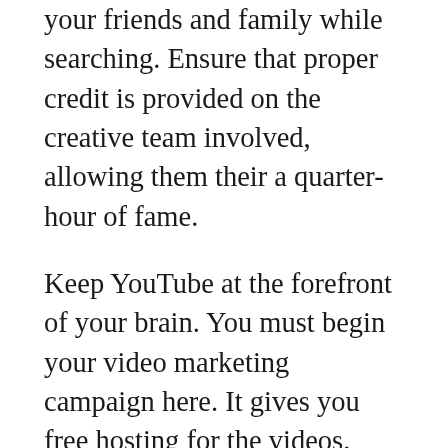your friends and family while searching. Ensure that proper credit is provided on the creative team involved, allowing them their a quarter-hour of fame.
Keep YouTube at the forefront of your brain. You must begin your video marketing campaign here. It gives you free hosting for the videos. You'll be on one of the most viewed websites on earth. YouTube is not just a youtube video sharing site, it is a huge resource for anyone looking for information online.
Should your customers have trouble making use of your product, make a video explaining how to do so. You won't just be giving information to customers but attracting new clients, also.